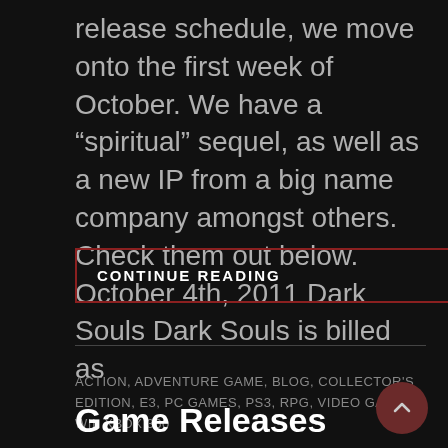release schedule, we move onto the first week of October. We have a “spiritual” sequel, as well as a new IP from a big name company amongst others.  Check them out below. October 4th, 2011 Dark Souls Dark Souls is billed as
CONTINUE READING
ACTION, ADVENTURE GAME, BLOG, COLLECTOR'S EDITION, E3, PC GAMES, PS3, RPG, VIDEO GAMES, WII, XBOX 360
Game Releases Fall 2011 –